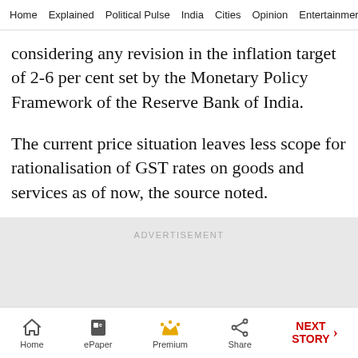Home  Explained  Political Pulse  India  Cities  Opinion  Entertainment
considering any revision in the inflation target of 2-6 per cent set by the Monetary Policy Framework of the Reserve Bank of India.
The current price situation leaves less scope for rationalisation of GST rates on goods and services as of now, the source noted.
[Figure (other): Advertisement placeholder block with gray background and 'ADVERTISEMENT' label]
Home  ePaper  Premium  Share  NEXT STORY